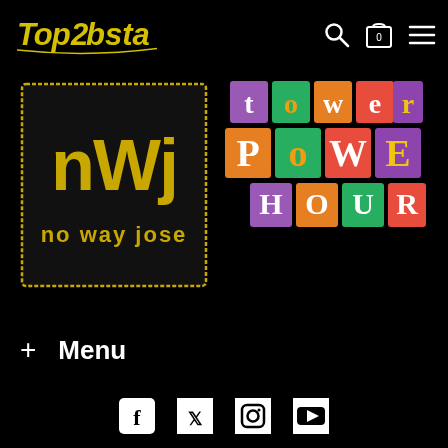TopLobsta - navigation header with search, cart (0), and menu icons
[Figure (logo): NWJ No Way Jose logo - yellow hand-drawn text on black background inside a distressed border rectangle]
[Figure (logo): Tower Power Hour logo - colorful collaged letter blocks spelling tower power hour in orange, purple, teal, yellow]
+ Menu
[Figure (infographic): Social media icons: Facebook, Twitter, Instagram, YouTube]